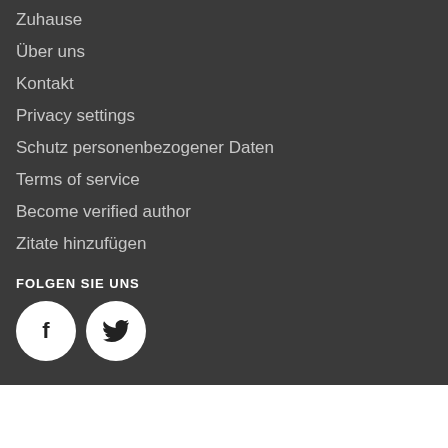Zuhause
Über uns
Kontakt
Privacy settings
Schutz personenbezogener Daten
Terms of service
Become verified author
Zitate hinzufügen
FOLGEN SIE UNS
[Figure (other): Facebook and Twitter social media icon buttons (white circles with dark icons on dark background)]